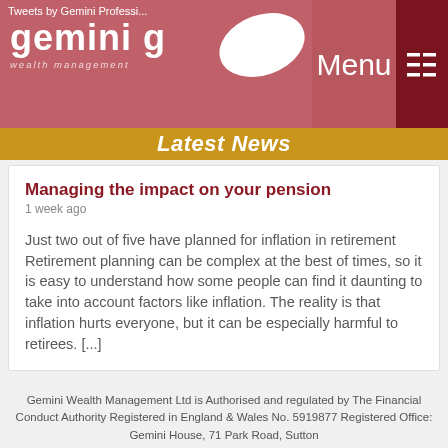Tweets by Gemini Professional | gemini g | wealth management | Menu
Latest News
Managing the impact on your pension
1 week ago
Just two out of five have planned for inflation in retirement Retirement planning can be complex at the best of times, so it is easy to understand how some people can find it daunting to take into account factors like inflation. The reality is that inflation hurts everyone, but it can be especially harmful to retirees. [...]
Saving for a rainy day...
Gemini Wealth Management Ltd is Authorised and regulated by The Financial Conduct Authority Registered in England & Wales No. 5919877 Registered Office: Gemini House, 71 Park Road, Sutton